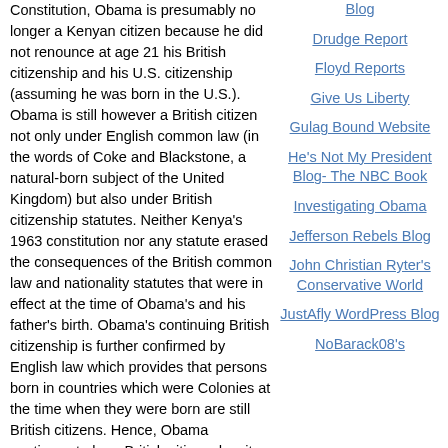Constitution, Obama is presumably no longer a Kenyan citizen because he did not renounce at age 21 his British citizenship and his U.S. citizenship (assuming he was born in the U.S.). Obama is still however a British citizen not only under English common law (in the words of Coke and Blackstone, a natural-born subject of the United Kingdom) but also under British citizenship statutes. Neither Kenya's 1963 constitution nor any statute erased the consequences of the British common law and nationality statutes that were in effect at the time of Obama's and his father's birth. Obama's continuing British citizenship is further confirmed by English law which provides that persons born in countries which were Colonies at the time when they were born are still British citizens. Hence, Obama continues to be a British citizen despite Kenya's independence and new constitution.
This all leads to the question of how can Obama be an Article II "natural born Citizen" if he was at birth both a U.S. citizen (assuming he was born in the U.S.) and a British citizen which alone disqualifies him from having that status? But to make matters worse, Obama
Blog
Drudge Report
Floyd Reports
Give Us Liberty
Gulag Bound Website
He's Not My President Blog- The NBC Book
Investigating Obama
Jefferson Rebels Blog
John Christian Ryter's Conservative World
JustAfly WordPress Blog
NoBarack08's